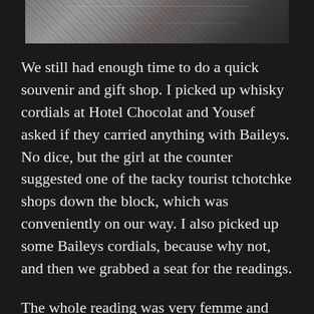[Figure (photo): Top portion of a photo showing what appears to be a tiled or cobblestone surface, partially cropped]
We still had enough time to do a quick souvenir and gift shop. I picked up whisky cordials at Hotel Chocolat and Yousef asked if they carried anything with Baileys. No dice, but the girl at the counter suggested one of the tacky tourist tchotchke shops down the block, which was conveniently on our way. I also picked up some Baileys cordials, because why not, and then we grabbed a seat for the readings.
The whole reading was very femme and very queer, which is fitting for an event during the high holy month of Pride. The readings were interspersed with a singer performing songs